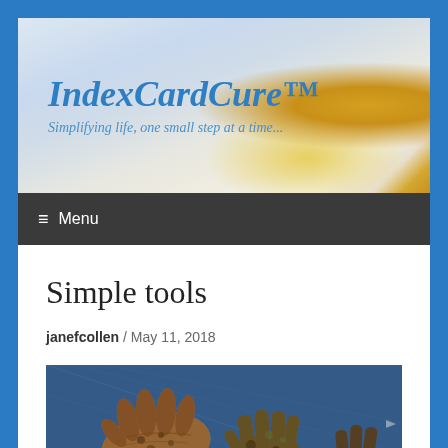[Figure (screenshot): Website header banner with flower/daisy background showing site title 'IndexCardCure™' and tagline 'Simplifying life, one small step at a time...']
≡ Menu
Simple tools
janefcollen / May 11, 2018
[Figure (photo): Photo of dirty hands and dirty gardening gloves laid out on blue denim fabric]